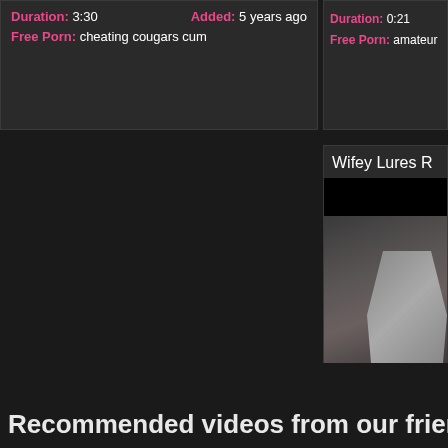Duration: 3:30   Added: 5 years ago
Free Porn: cheating cougars cum
Duration: 0:21
Free Porn: amateur
Wifey Lures R
[Figure (photo): Video thumbnail showing a person in a patterned outfit]
Duration: 5:00
Free Porn: bigcock
Recommended videos from our friends: